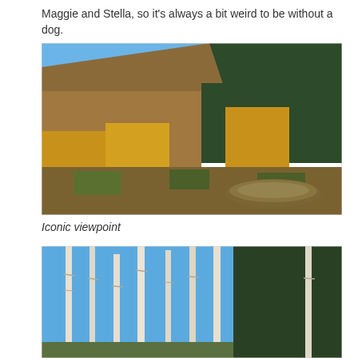Maggie and Stella, so it's always a bit weird to be without a dog.
[Figure (photo): Autumn landscape with hillside covered in golden aspen and yellow-leafed trees, dark green conifers, scrubby valley floor with a small pond, under a clear blue sky.]
Iconic viewpoint
[Figure (photo): Close-up view of white-barked aspen trees with bare branches against a bright blue sky, with dark green conifers in the background.]